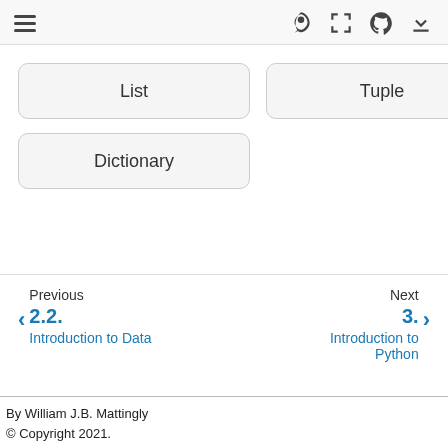≡ [rocket icon] [expand icon] [github icon] [download icon]
List
Tuple
Dictionary
Previous
‹ 2.2. Introduction to Data
Next
3. › Introduction to Python
By William J.B. Mattingly
© Copyright 2021.